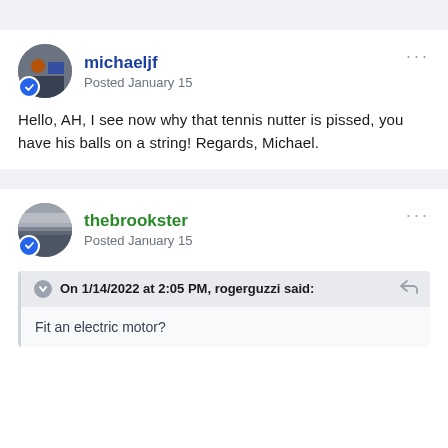michaeljf
Posted January 15
Hello, AH, I see now why that tennis nutter is pissed, you have his balls on a string! Regards, Michael.
thebrookster
Posted January 15
On 1/14/2022 at 2:05 PM, rogerguzzi said:
Fit an electric motor?